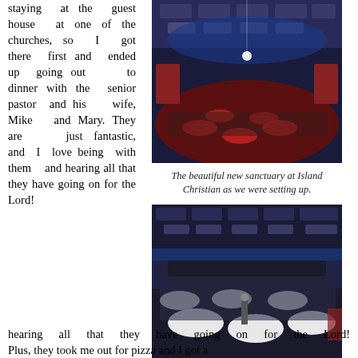staying at the guest house at one of the churches, so I got there first and ended up going out to dinner with the senior pastor and his wife, Mike and Mary. They are just fantastic, and I love being with them and hearing all that they have going on for the Lord!
[Figure (photo): Interior of a large church sanctuary with blue lighting, round tables set for a banquet event, crowd of people.]
The beautiful new sanctuary at Island Christian as we were setting up.
[Figure (photo): Interior of a large church hall with people seated at round tables covered with white tablecloths during the Women's Christmas Brunch.]
The Women's Christmas Brunch at Island Christian.
Plus, they took me out for pizza and I got a